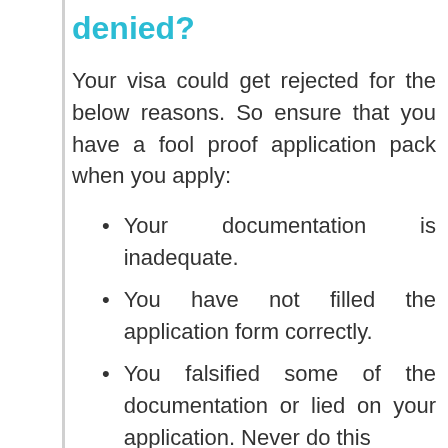denied?
Your visa could get rejected for the below reasons. So ensure that you have a fool proof application pack when you apply:
Your documentation is inadequate.
You have not filled the application form correctly.
You falsified some of the documentation or lied on your application. Never do this